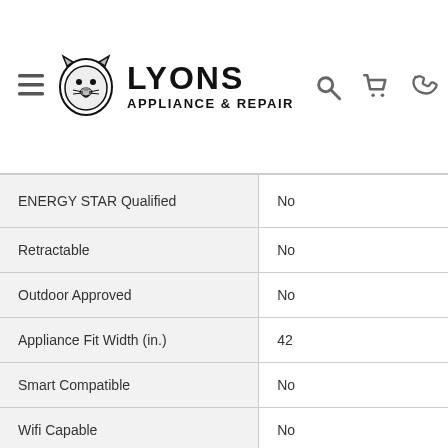LYONS APPLIANCE & REPAIR
| Feature | Value |
| --- | --- |
| ENERGY STAR Qualified | No |
| Retractable | No |
| Outdoor Approved | No |
| Appliance Fit Width (in.) | 42 |
| Smart Compatible | No |
| Wifi Capable | No |
| Maximum CFM | 900 |